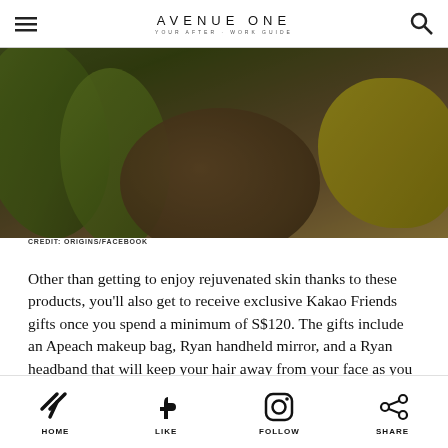AVENUE ONE — YOUR AFTER-WORK GUIDE
[Figure (photo): Close-up photo of avocado slices and lemon on a wooden bowl, darkened with overlay]
CREDIT: ORIGINS/FACEBOOK
Other than getting to enjoy rejuvenated skin thanks to these products, you'll also get to receive exclusive Kakao Friends gifts once you spend a minimum of S$120. The gifts include an Apeach makeup bag, Ryan handheld mirror, and a Ryan headband that will keep your hair away from your face as you do your skincare routine.
HOME  LIKE  FOLLOW  SHARE